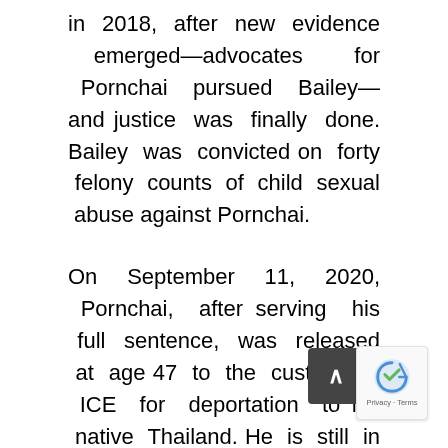in 2018, after new evidence emerged—advocates for Pornchai pursued Bailey—and justice was finally done. Bailey was convicted on forty felony counts of child sexual abuse against Pornchai.
On September 11, 2020, Pornchai, after serving his full sentence, was released at age 47 to the custody of ICE for deportation to his native Thailand. He is still in custody, with no end in sight.
Pornchai has served his time and has suffered enough. He should now be set free.